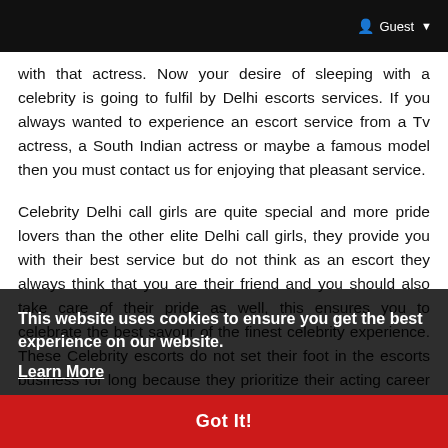Guest
with that actress. Now your desire of sleeping with a celebrity is going to fulfil by Delhi escorts services. If you always wanted to experience an escort service from a Tv actress, a South Indian actress or maybe a famous model then you must contact us for enjoying that pleasant service.
Celebrity Delhi call girls are quite special and more pride lovers than the other elite Delhi call girls, they provide you with their best service but do not think as an escort they always think that you are their friend and you should also take care of their pride as well, this ensures you to celebrate the best savour of the finest celebrity experience. These Celebrity escorts do not set their foot in the escorts business for long because they prioritize their acting career more and that is the only reason which multiplies their demands amongst customers. Delhi Escorts,
This website uses cookies to ensure you get the best experience on our website.
Learn More
Got It!